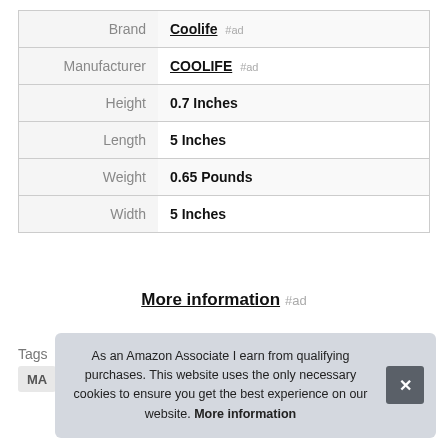|  |  |
| --- | --- |
| Brand | Coolife #ad |
| Manufacturer | COOLIFE #ad |
| Height | 0.7 Inches |
| Length | 5 Inches |
| Weight | 0.65 Pounds |
| Width | 5 Inches |
More information #ad
Tags
MA
As an Amazon Associate I earn from qualifying purchases. This website uses the only necessary cookies to ensure you get the best experience on our website. More information